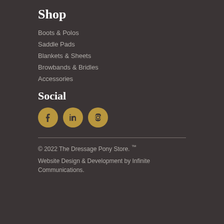Shop
Boots & Polos
Saddle Pads
Blankets & Sheets
Browbands & Bridles
Accessories
Social
[Figure (illustration): Three circular golden social media icons: Facebook (f), LinkedIn (in), Instagram (camera)]
© 2022 The Dressage Pony Store. ™
Website Design & Development by Infinite Communications.